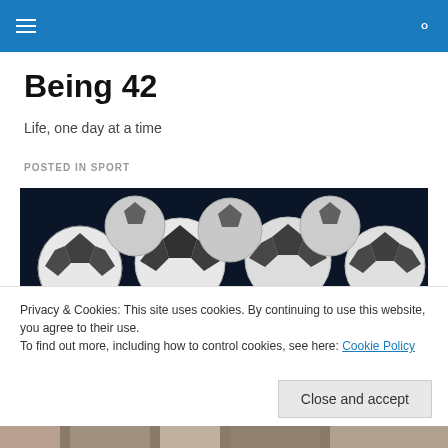Being 42 – navigation and search
Being 42
Life, one day at a time
POSTED IN SPORT
[Figure (photo): Multiple soccer/footballs grouped together, photographed from above on a dark background]
Privacy & Cookies: This site uses cookies. By continuing to use this website, you agree to their use.
To find out more, including how to control cookies, see here: Cookie Policy
Close and accept